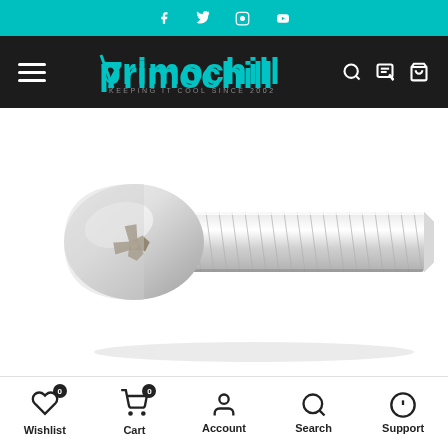Social media icons: Facebook, Twitter, Instagram, YouTube
PrimoChill — KEEPING IT COOL SINCE 2002 — Navigation bar with menu, search, chat, cart icons
[Figure (photo): A stainless steel pan head Phillips machine screw with threaded shank, photographed on white background, angled view showing the head and full thread length.]
Wishlist 0 | Cart 0 | Account | Search | Support